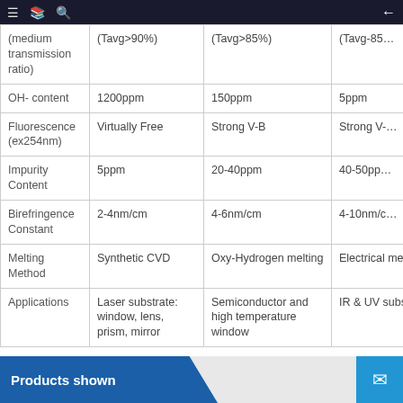Navigation bar with menu, book, search icons and back arrow
| Property | Type A | Type B | Type C |
| --- | --- | --- | --- |
| (medium transmission ratio) | (Tavg>90%) | (Tavg>85%) | (Tavg-85… |
| OH- content | 1200ppm | 150ppm | 5ppm |
| Fluorescence (ex254nm) | Virtually Free | Strong V-B | Strong V-… |
| Impurity Content | 5ppm | 20-40ppm | 40-50pp… |
| Birefringence Constant | 2-4nm/cm | 4-6nm/cm | 4-10nm/c… |
| Melting Method | Synthetic CVD | Oxy-Hydrogen melting | Electrical melting |
| Applications | Laser substrate: window, lens, prism, mirror | Semiconductor and high temperature window | IR & UV substrate |
Products shown